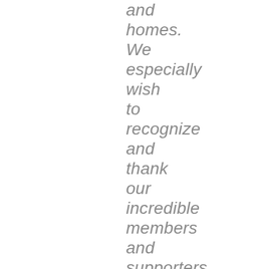and homes. We especially wish to recognize and thank our incredible members and supporters who make all of